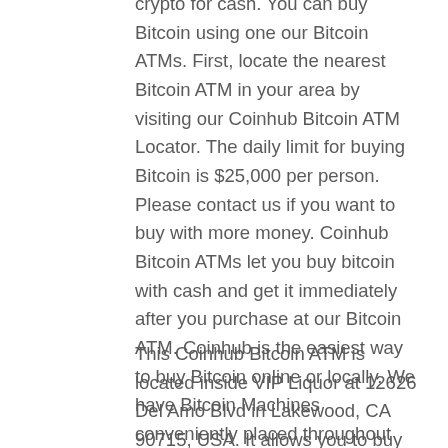crypto for cash. You can buy Bitcoin using one our Bitcoin ATMs. First, locate the nearest Bitcoin ATM in your area by visiting our Coinhub Bitcoin ATM Locator. The daily limit for buying Bitcoin is $25,000 per person. Please contact us if you want to buy with more money. Coinhub Bitcoin ATMs let you buy bitcoin with cash and get it immediately after you purchase at our Bitcoin ATM. Coinhub is the easiest way to buy Bitcoin online or locally. We have Bitcoin Machines conveniently placed throughout the country in major cities! Upon purchase, Bitcoin is instantly sent to your wallet. For purchases over $2,000.00, all you need is a phone and cash. A transaction can be completed in under two minutes
This Coinhub Bitcoin ATM is located inside VIP Liquor at 12626 Del Amo Blvd in Lakewood, CA 90715, USA. It allows you to buy Bitcoin at the machine and services